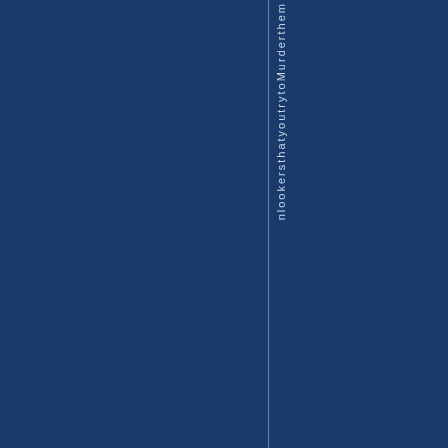nlookersthatyoutrytomurderthem